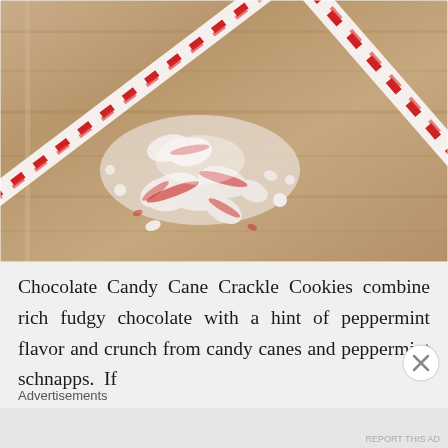[Figure (photo): Crushed candy cane pieces scattered on a wooden surface, with two whole red and white striped candy canes crossing each other in the background.]
Chocolate Candy Cane Crackle Cookies combine rich fudgy chocolate with a hint of peppermint flavor and crunch from candy canes and peppermint schnapps.  If
Advertisements